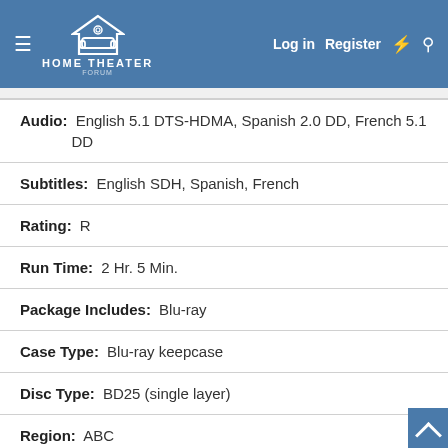Home Theater Forum — Log in | Register
| Audio: | English 5.1 DTS-HDMA, Spanish 2.0 DD, French 5.1 DD |
| Subtitles: | English SDH, Spanish, French |
| Rating: | R |
| Run Time: | 2 Hr. 5 Min. |
| Package Includes: | Blu-ray |
| Case Type: | Blu-ray keepcase |
| Disc Type: | BD25 (single layer) |
| Region: | ABC |
Release Date: 11/19/2019